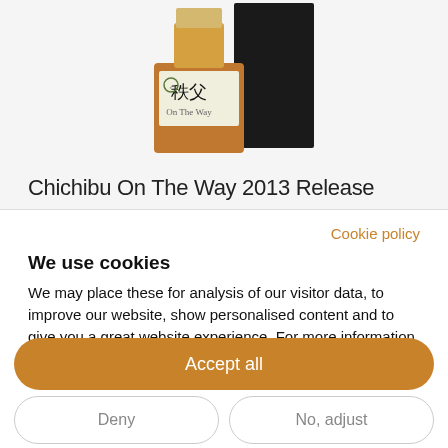[Figure (photo): Product photo of Chichibu On The Way 2013 Release whisky bottle with Japanese label, amber liquid visible, black box in background]
Chichibu On The Way 2013 Release
Cookie policy
We use cookies
We may place these for analysis of our visitor data, to improve our website, show personalised content and to give you a great website experience. For more information about the cookies we use open the settings.
Accept all
Deny
No, adjust